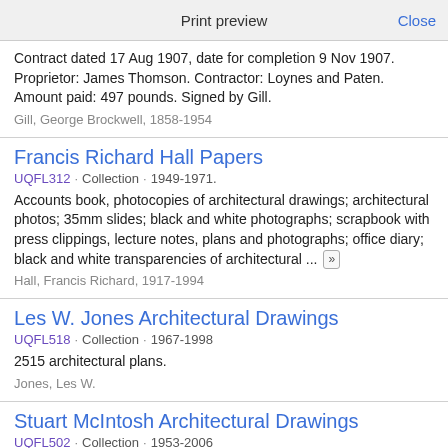Print preview   Close
Contract dated 17 Aug 1907, date for completion 9 Nov 1907. Proprietor: James Thomson. Contractor: Loynes and Paten. Amount paid: 497 pounds. Signed by Gill.
Gill, George Brockwell, 1858-1954
Francis Richard Hall Papers
UQFL312 · Collection · 1949-1971.
Accounts book, photocopies of architectural drawings; architectural photos; 35mm slides; black and white photographs; scrapbook with press clippings, lecture notes, plans and photographs; office diary; black and white transparencies of architectural ...
Hall, Francis Richard, 1917-1994
Les W. Jones Architectural Drawings
UQFL518 · Collection · 1967-1998
2515 architectural plans.
Jones, Les W.
Stuart McIntosh Architectural Drawings
UQFL502 · Collection · 1953-2006
Architectural drawings and sketches by Stuart McIntosh. McIntosh's